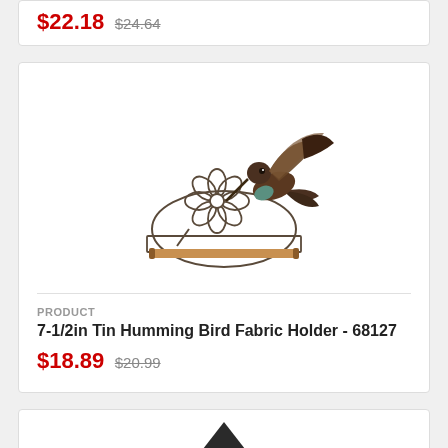$22.18 $24.64
[Figure (photo): 7-1/2in Tin Humming Bird Fabric Holder product photo showing a metal hummingbird perched at a wire flower, with a hanging rod at the bottom]
PRODUCT
7-1/2in Tin Humming Bird Fabric Holder - 68127
$18.89 $20.99
[Figure (photo): Partial view of another product card at the bottom of the page, showing a dark triangular shape]